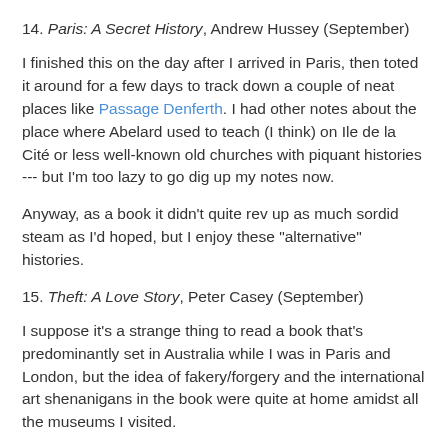14. Paris: A Secret History, Andrew Hussey (September)
I finished this on the day after I arrived in Paris, then toted it around for a few days to track down a couple of neat places like Passage Denferth. I had other notes about the place where Abelard used to teach (I think) on Ile de la Cité or less well-known old churches with piquant histories --- but I'm too lazy to go dig up my notes now.
Anyway, as a book it didn't quite rev up as much sordid steam as I'd hoped, but I enjoy these "alternative" histories.
15. Theft: A Love Story, Peter Casey (September)
I suppose it's a strange thing to read a book that's predominantly set in Australia while I was in Paris and London, but the idea of fakery/forgery and the international art shenanigans in the book were quite at home amidst all the museums I visited.
16. How I Live Now, Meg Rosoff (September)